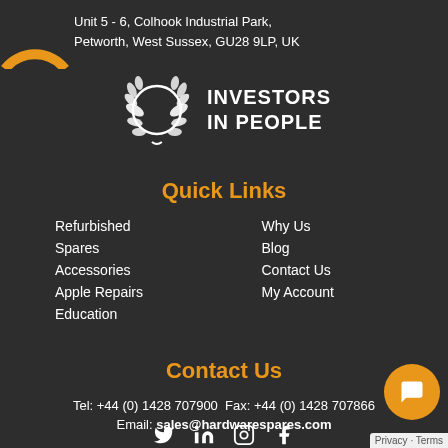[Figure (logo): Orange arc logo (partial, top-left corner)]
Unit 5 - 6, Colhook Industrial Park,
Petworth, West Sussex, GU28 9LP, UK
[Figure (logo): Investors in People logo — white laurel wreath circle with text INVESTORS IN PEOPLE]
Quick Links
Refurbished
Why Us
Spares
Blog
Accessories
Contact Us
Apple Repairs
My Account
Education
Contact Us
Tel: +44 (0) 1428 707900  Fax: +44 (0) 1428 707866
Email: sales@hardwarespares.com